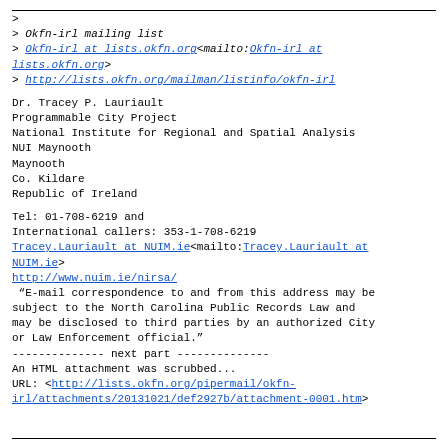> 
> Okfn-irl mailing list
> Okfn-irl at lists.okfn.org<mailto:Okfn-irl at lists.okfn.org>
> http://lists.okfn.org/mailman/listinfo/okfn-irl
Dr. Tracey P. Lauriault
Programmable City Project
National Institute for Regional and Spatial Analysis
NUI Maynooth
Maynooth
Co. Kildare
Republic of Ireland
Tel: 01-708-6219 and
International callers: 353-1-708-6219
Tracey.Lauriault at NUIM.ie<mailto:Tracey.Lauriault at NUIM.ie>
http://www.nuim.ie/nirsa/
“E-mail correspondence to and from this address may be subject to the North Carolina Public Records Law and may be disclosed to third parties by an authorized City or Law Enforcement official.”
-------------- next part --------------
An HTML attachment was scrubbed...
URL: <http://lists.okfn.org/pipermail/okfn-irl/attachments/20131021/def2927b/attachment-0001.htm>